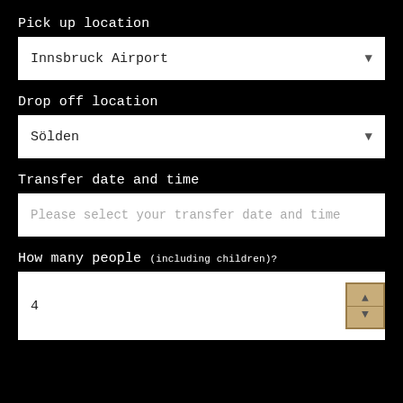Pick up location
Innsbruck Airport
Drop off location
Sölden
Transfer date and time
Please select your transfer date and time
How many people (including children)?
4